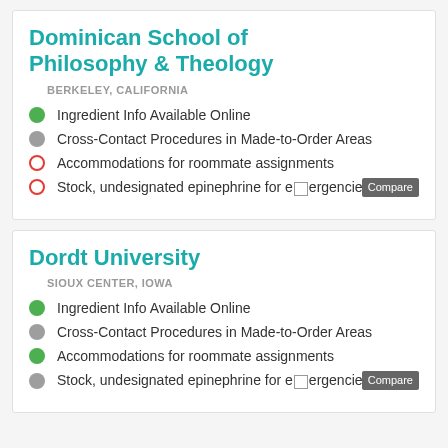Dominican School of Philosophy & Theology
BERKELEY, CALIFORNIA
Ingredient Info Available Online
Cross-Contact Procedures in Made-to-Order Areas
Accommodations for roommate assignments
Stock, undesignated epinephrine for emergencies
Dordt University
SIOUX CENTER, IOWA
Ingredient Info Available Online
Cross-Contact Procedures in Made-to-Order Areas
Accommodations for roommate assignments
Stock, undesignated epinephrine for emergencies